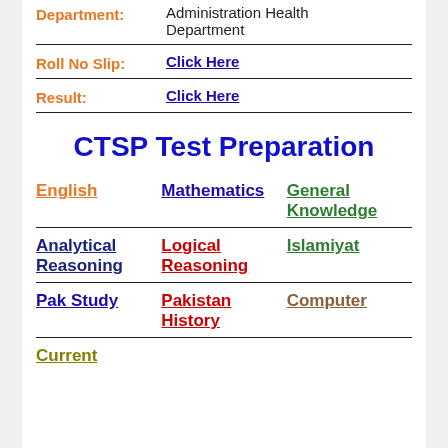Department: Administration Health Department
Roll No Slip: Click Here
Result: Click Here
CTSP Test Preparation
English | Mathematics | General Knowledge
Analytical Reasoning | Logical Reasoning | Islamiyat
Pak Study | Pakistan History | Computer
Current